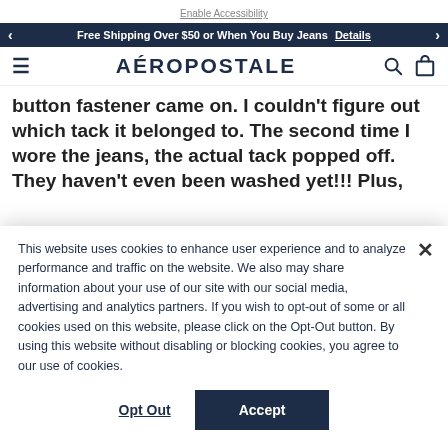Enable Accessibility
Free Shipping Over $50 or When You Buy Jeans   Details
AÉROPOSTALE
button fastener came on. I couldn't figure out which tack it belonged to. The second time I wore the jeans, the actual tack popped off. They haven't even been washed yet!!! Plus, the vanity sizing is way off. I wear a
This website uses cookies to enhance user experience and to analyze performance and traffic on the website. We also may share information about your use of our site with our social media, advertising and analytics partners. If you wish to opt-out of some or all cookies used on this website, please click on the Opt-Out button. By using this website without disabling or blocking cookies, you agree to our use of cookies.
Opt Out
Accept